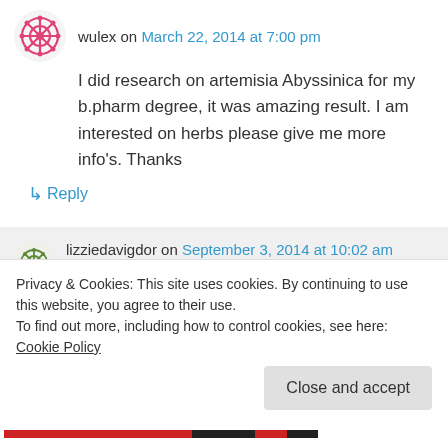wulex on March 22, 2014 at 7:00 pm
I did research on artemisia Abyssinica for my b.pharm degree, it was amazing result. I am interested on herbs please give me more info's. Thanks
↳ Reply
lizziedavigdor on September 3, 2014 at 10:02 am
Privacy & Cookies: This site uses cookies. By continuing to use this website, you agree to their use.
To find out more, including how to control cookies, see here: Cookie Policy
Close and accept